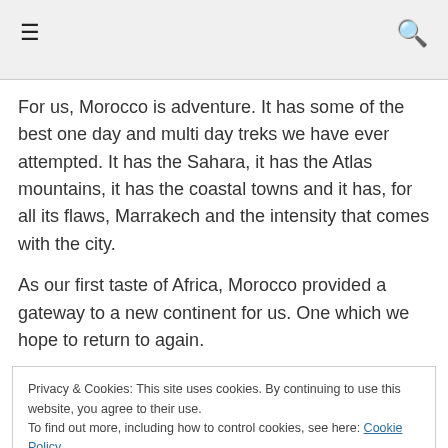☰  🔍
For us, Morocco is adventure. It has some of the best one day and multi day treks we have ever attempted. It has the Sahara, it has the Atlas mountains, it has the coastal towns and it has, for all its flaws, Marrakech and the intensity that comes with the city.
As our first taste of Africa, Morocco provided a gateway to a new continent for us. One which we hope to return to again.
Privacy & Cookies: This site uses cookies. By continuing to use this website, you agree to their use.
To find out more, including how to control cookies, see here: Cookie Policy
[Close and accept]
[Figure (photo): Partial colourful image strip at the bottom of the page showing what appears to be a Moroccan scene with orange/brown and blue tones.]